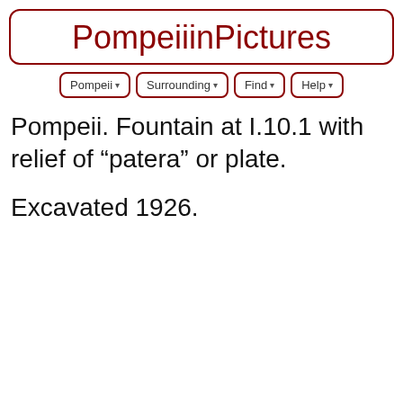PompeiiinPictures
[Figure (other): Navigation bar with dropdown menu buttons: Pompeii, Surrounding, Find, Help]
Pompeii. Fountain at I.10.1 with relief of “patera” or plate.
Excavated 1926.